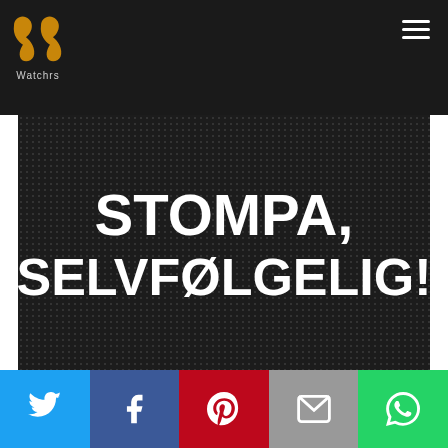Watchrs
[Figure (illustration): Dark dotted background with bold white text reading STOMPA, SELVFØLGELIG!]
[Figure (infographic): Social share bar with Twitter, Facebook, Pinterest, Email, and WhatsApp icons]